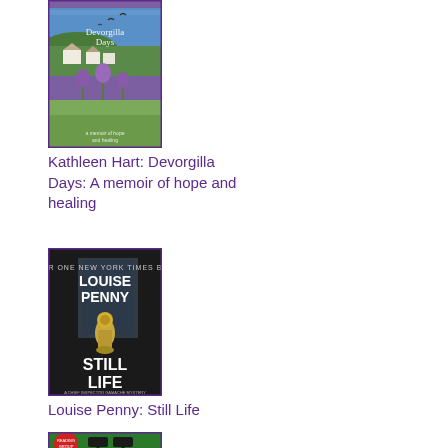[Figure (illustration): Book cover of 'Devorgilla Days' by Kathleen Hart - shows a Scottish coastal scene with thistles, white cottages and sea under a purple sky]
Kathleen Hart: Devorgilla Days: A memoir of hope and healing
[Figure (illustration): Book cover of 'Still Life' by Louise Penny - dark moody cover with a flower vase, 'A Chief Inspector Gamache Mystery' subtitle]
Louise Penny: Still Life
[Figure (illustration): Partial book cover visible at bottom, green background with lamp posts]